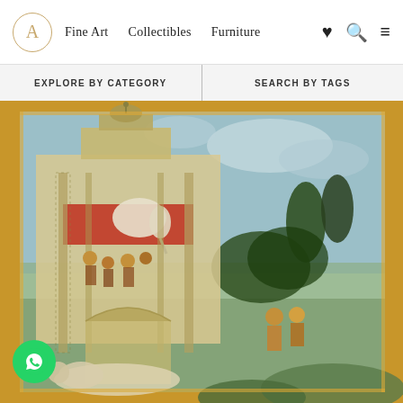A  Fine Art  Collectibles  Furniture  ♥ 🔍 ≡
EXPLORE BY CATEGORY    |    SEARCH BY TAGS
[Figure (photo): Close-up of an Indian miniature painting showing a multi-story architectural pavilion with figures, an elephant, and decorative elements on the left, and an outdoor scene with lush green trees, two small figures in ornate robes, and hills in the background on the right; bordered by a golden-ochre frame; painted in greens, golds, blues, and reds on aged paper.]
[Figure (logo): WhatsApp chat button - green circle with white WhatsApp phone handset icon]